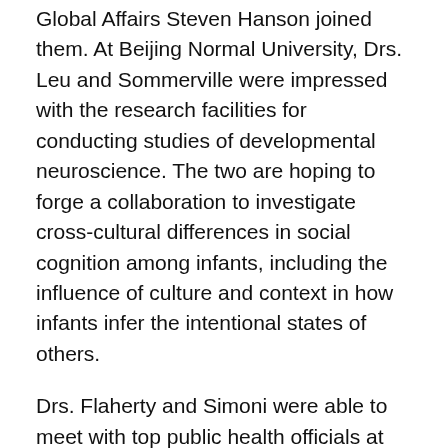Global Affairs Steven Hanson joined them. At Beijing Normal University, Drs. Leu and Sommerville were impressed with the research facilities for conducting studies of developmental neuroscience. The two are hoping to forge a collaboration to investigate cross-cultural differences in social cognition among infants, including the influence of culture and context in how infants infer the intentional states of others.
Drs. Flaherty and Simoni were able to meet with top public health officials at the China Centers for Disease Control and Prevention to discuss priorities in HIV research and tobacco control. Dr. Flaherty learned that establishing smoking bans in public spaces is the biggest public health goal of China's National Tobacco Control Office.  In the future, he hopes to establish a relationship with that office and contribute to their